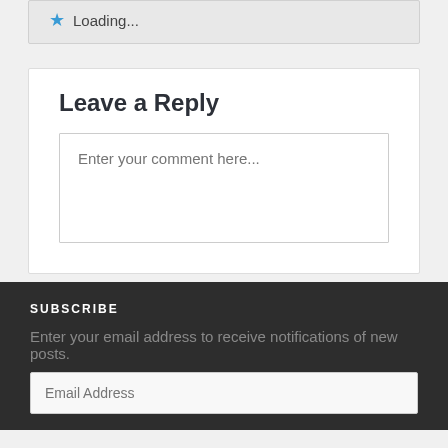Loading...
Leave a Reply
Enter your comment here...
SUBSCRIBE
Enter your email address to receive notifications of new posts.
Email Address